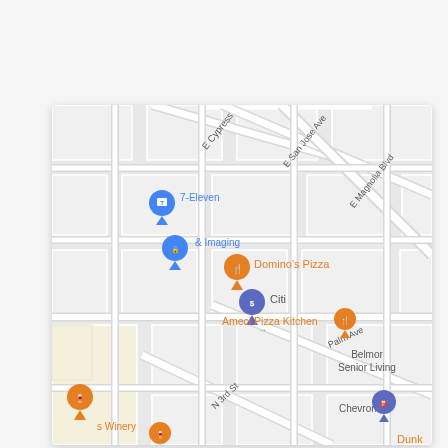[Figure (map): Google Maps screenshot showing a street grid in a California city. Visible streets include E Cypress, E San Jose Ave, E Magnolia Blvd, Palm Ave, N 3rd St. Business markers visible: 7-Eleven (blue pin), & Imaging (blue pin), Domino's Pizza (orange food pin), Citi (purple dollar pin), Ameci Pizza Kitchen (orange food pin), Belmor Senior Living (text label), Chevron (purple pin), s Winery (orange wine pin), Dunk (orange, partially visible). Map has light gray street grid on white/light background with beige block in lower left.]